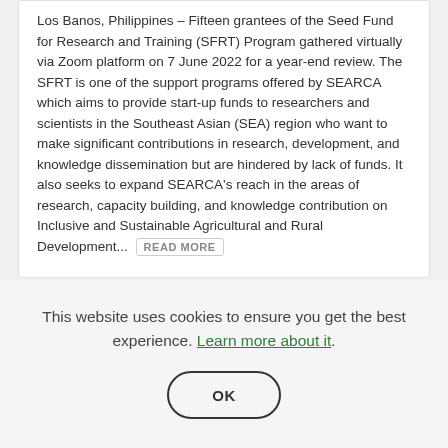Los Banos, Philippines – Fifteen grantees of the Seed Fund for Research and Training (SFRT) Program gathered virtually via Zoom platform on 7 June 2022 for a year-end review.  The SFRT is one of the support programs offered by SEARCA which aims to provide start-up funds to researchers and scientists in the Southeast Asian (SEA) region who want to make significant contributions in research, development, and knowledge dissemination but are hindered by lack of funds. It also seeks to expand SEARCA's reach in the areas of research, capacity building, and knowledge contribution on Inclusive and Sustainable Agricultural and Rural Development... READ MORE
This website uses cookies to ensure you get the best experience. Learn more about it.
OK